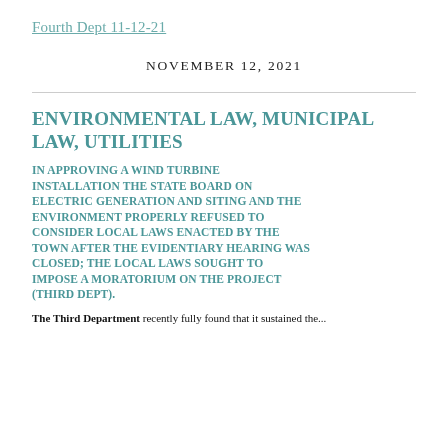Fourth Dept 11-12-21
NOVEMBER 12, 2021
ENVIRONMENTAL LAW, MUNICIPAL LAW, UTILITIES
IN APPROVING A WIND TURBINE INSTALLATION THE STATE BOARD ON ELECTRIC GENERATION AND SITING AND THE ENVIRONMENT PROPERLY REFUSED TO CONSIDER LOCAL LAWS ENACTED BY THE TOWN AFTER THE EVIDENTIARY HEARING WAS CLOSED; THE LOCAL LAWS SOUGHT TO IMPOSE A MORATORIUM ON THE PROJECT (THIRD DEPT).
The Third Department recently fully found that it sustained the...